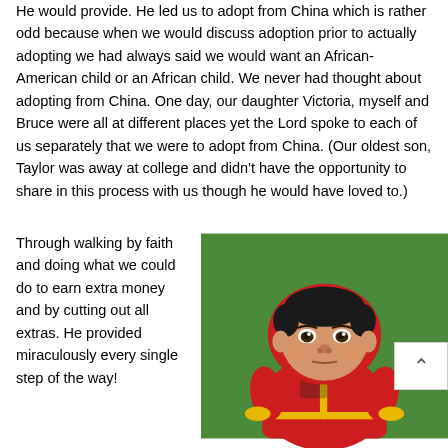He would provide. He led us to adopt from China which is rather odd because when we would discuss adoption prior to actually adopting we had always said we would want an African-American child or an African child. We never had thought about adopting from China. One day, our daughter Victoria, myself and Bruce were all at different places yet the Lord spoke to each of us separately that we were to adopt from China. (Our oldest son, Taylor was away at college and didn't have the opportunity to share in this process with us though he would have loved to.)
Through walking by faith and doing what we could do to earn extra money and by cutting out all extras. He provided miraculously every single step of the way!
[Figure (photo): A baby dressed in a red and yellow hooded outfit, sitting against a green background.]